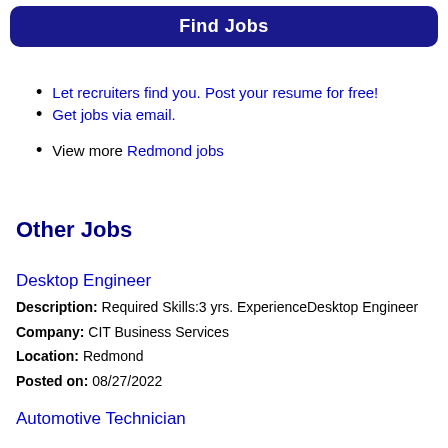Find Jobs
Let recruiters find you. Post your resume for free!
Get jobs via email.
View more Redmond jobs
Other Jobs
Desktop Engineer
Description: Required Skills:3 yrs. ExperienceDesktop Engineer
Company: CIT Business Services
Location: Redmond
Posted on: 08/27/2022
Automotive Technician